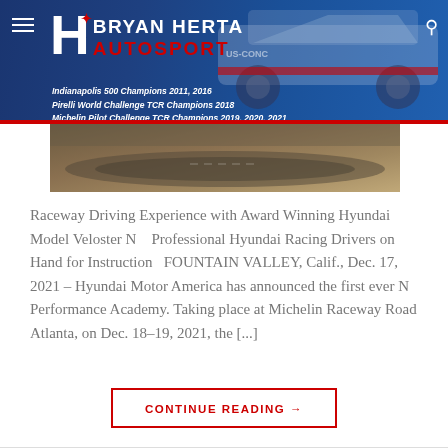[Figure (screenshot): Bryan Herta Autosport website header banner with logo, race car, championship credentials, and navigation icons]
Raceway Driving Experience with Award Winning Hyundai Model Veloster N    Professional Hyundai Racing Drivers on Hand for Instruction   FOUNTAIN VALLEY, Calif., Dec. 17, 2021 – Hyundai Motor America has announced the first ever N Performance Academy. Taking place at Michelin Raceway Road Atlanta, on Dec. 18–19, 2021, the [...]
CONTINUE READING →